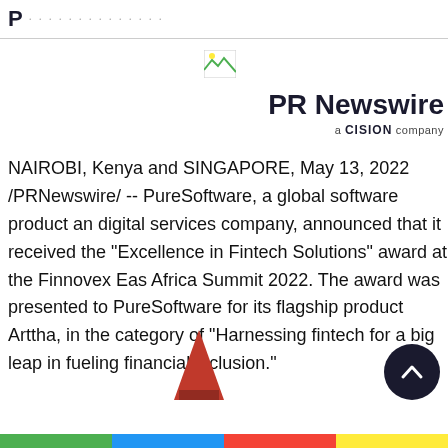P ...
[Figure (logo): PR Newswire a CISION company logo]
NAIROBI, Kenya and SINGAPORE, May 13, 2022 /PRNewswire/ -- PureSoftware, a global software product and digital services company, announced that it received the "Excellence in Fintech Solutions" award at the Finnovex East Africa Summit 2022. The award was presented to PureSoftware for its flagship product Arttha, in the category of "Harnessing fintech for a big leap in fueling financial inclusion."